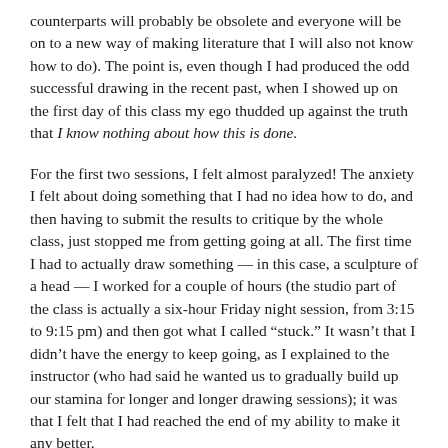counterparts will probably be obsolete and everyone will be on to a new way of making literature that I will also not know how to do).  The point is, even though I had produced the odd successful drawing in the recent past, when I showed up on the first day of this class my ego thudded up against the truth that I know nothing about how this is done.
For the first two sessions, I felt almost paralyzed!  The anxiety I felt about doing something that I had no idea how to do, and then having to submit the results to critique by the whole class, just stopped me from getting going at all.  The first time I had to actually draw something — in this case, a sculpture of a head — I worked for a couple of hours (the studio part of the class is actually a six-hour Friday night session, from 3:15 to 9:15 pm) and then got what I called “stuck.”  It wasn’t that I didn’t have the energy to keep going, as I explained to the instructor (who had said he wanted us to gradually build up our stamina for longer and longer drawing sessions); it was that I felt that I had reached the end of my ability to make it any better.